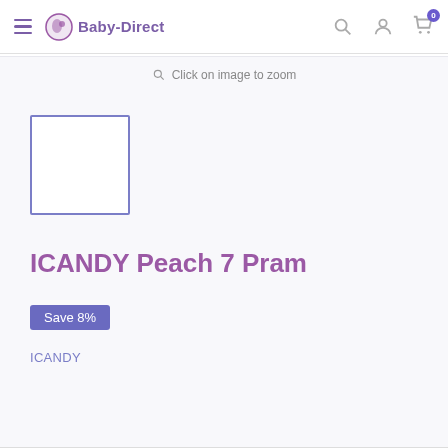Baby-Direct
Click on image to zoom
[Figure (other): Thumbnail image placeholder box with blue/purple border, empty white interior]
ICANDY Peach 7 Pram
Save 8%
ICANDY